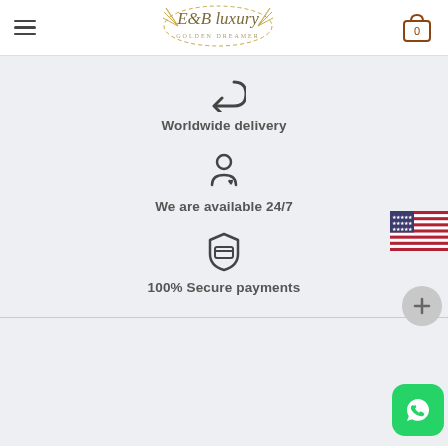E&B Luxury — Navigation header with logo and cart
[Figure (illustration): Return/refresh arrow icon]
Worldwide delivery
[Figure (illustration): Person with heart icon representing customer care]
We are available 24/7
[Figure (illustration): Shield with credit card icon representing secure payments]
100% Secure payments
[Figure (illustration): US flag overlay on right edge]
[Figure (illustration): Plus button circle]
[Figure (illustration): WhatsApp button green rounded square]